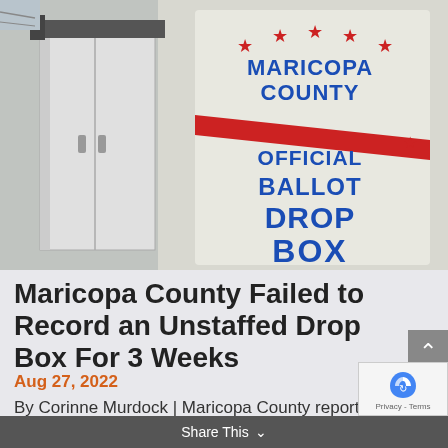[Figure (photo): Maricopa County Official Ballot Drop Box — a white metal box/kiosk with blue text reading 'MARICOPA COUNTY OFFICIAL BALLOT DROP BOX' with red stars and red swoosh decoration, mounted on a wall.]
Maricopa County Failed to Record an Unstaffed Drop Box For 3 Weeks
Aug 27, 2022
By Corinne Murdock | Maricopa County reportedly failed to record one of their unstaffed drop boxes for at least three...